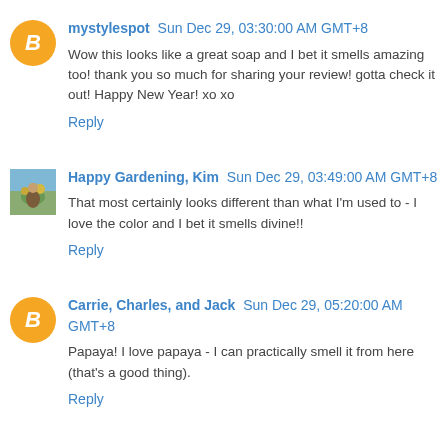mystylespot Sun Dec 29, 03:30:00 AM GMT+8
Wow this looks like a great soap and I bet it smells amazing too! thank you so much for sharing your review! gotta check it out! Happy New Year! xo xo
Reply
Happy Gardening, Kim Sun Dec 29, 03:49:00 AM GMT+8
That most certainly looks different than what I'm used to - I love the color and I bet it smells divine!!
Reply
Carrie, Charles, and Jack Sun Dec 29, 05:20:00 AM GMT+8
Papaya! I love papaya - I can practically smell it from here (that's a good thing).
Reply